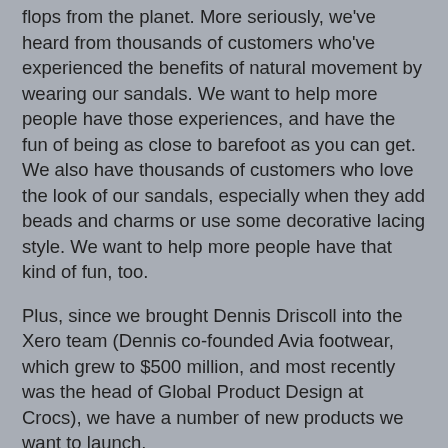flops from the planet. More seriously, we've heard from thousands of customers who've experienced the benefits of natural movement by wearing our sandals. We want to help more people have those experiences, and have the fun of being as close to barefoot as you can get. We also have thousands of customers who love the look of our sandals, especially when they add beads and charms or use some decorative lacing style. We want to help more people have that kind of fun, too.
Plus, since we brought Dennis Driscoll into the Xero team (Dennis co-founded Avia footwear, which grew to $500 million, and most recently was the head of Global Product Design at Crocs), we have a number of new products we want to launch.
Not surprisingly, it takes a significant amount of money to develop and produce those products and to make people aware of them so they can buy them and experience the benefits and fun they provide. We're doing well enough to bootstrap things, but we could speed up the whole process with funding.